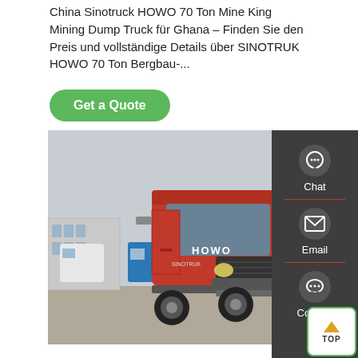China Sinotruck HOWO 70 Ton Mine King Mining Dump Truck für Ghana – Finden Sie den Preis und vollständige Details über SINOTRUK HOWO 70 Ton Bergbau-...
Get a Quote
[Figure (photo): Red SINOTRUK HOWO heavy truck parked in a yard with warehouses in the background]
Chat
Email
Contact
TOP